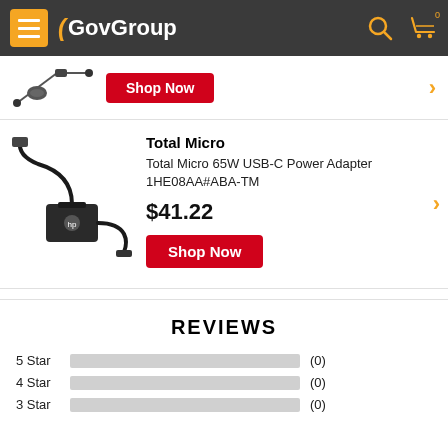GovGroup
[Figure (photo): Partially visible laptop power adapter/cables product image with Shop Now button]
Total Micro
Total Micro 65W USB-C Power Adapter 1HE08AA#ABA-TM
$41.22
Shop Now
REVIEWS
5 Star (0)
4 Star (0)
3 Star (0)